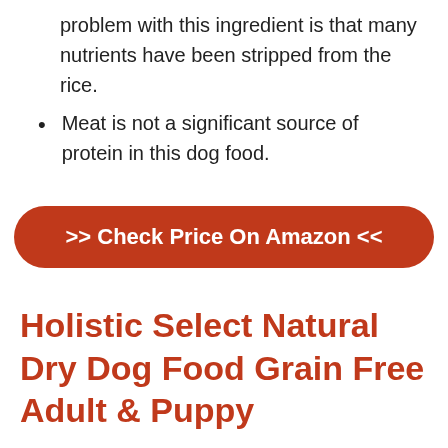problem with this ingredient is that many nutrients have been stripped from the rice.
Meat is not a significant source of protein in this dog food.
[Figure (other): Orange rounded button with white bold text: >> Check Price On Amazon <<]
Holistic Select Natural Dry Dog Food Grain Free Adult & Puppy
Manufactured in Indiana and owned by WellPet,